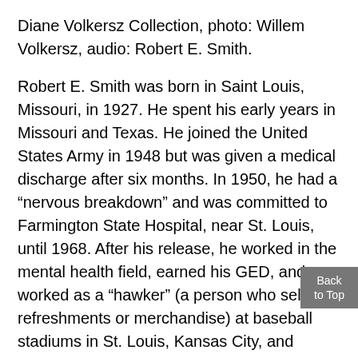Diane Volkersz Collection, photo: Willem Volkersz, audio: Robert E. Smith.
Robert E. Smith was born in Saint Louis, Missouri, in 1927. He spent his early years in Missouri and Texas. He joined the United States Army in 1948 but was given a medical discharge after six months. In 1950, he had a “nervous breakdown” and was committed to Farmington State Hospital, near St. Louis, until 1968. After his release, he worked in the mental health field, earned his GED, and worked as a “hawker” (a person who sells refreshments or merchandise) at baseball stadiums in St. Louis, Kansas City, and Houston.
Smith began to paint in 1964 while he was still at Farmington State Hospital. He painted on...